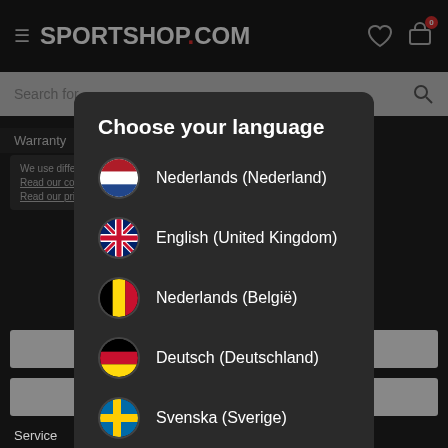SPORTSHOP.COM
Choose your language
Nederlands (Nederland)
English (United Kingdom)
Nederlands (België)
Deutsch (Deutschland)
Svenska (Sverige)
CONTINUE TO SITE